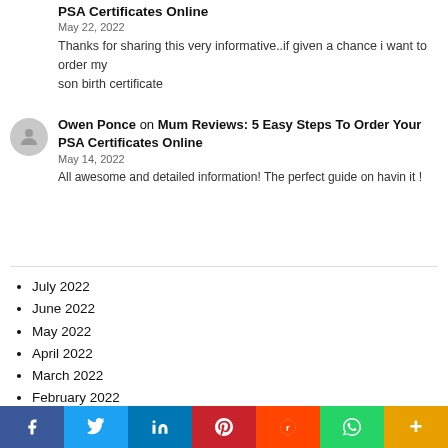PSA Certificates Online
May 22, 2022
Thanks for sharing this very informative..if given a chance i want to order my son birth certificate
Owen Ponce on Mum Reviews: 5 Easy Steps To Order Your PSA Certificates Online
May 14, 2022
All awesome and detailed information! The perfect guide on havin it !
July 2022
June 2022
May 2022
April 2022
March 2022
February 2022
January 2022
December 2021
November 2021